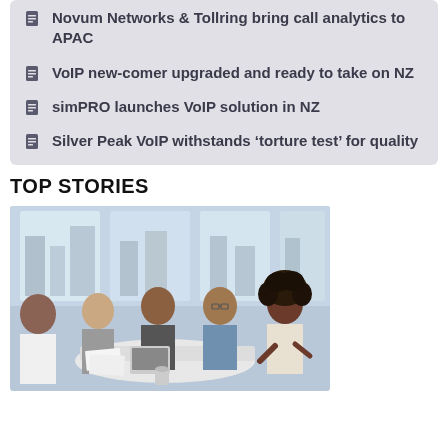Novum Networks & Tollring bring call analytics to APAC
VoIP new-comer upgraded and ready to take on NZ
simPRO launches VoIP solution in NZ
Silver Peak VoIP withstands ‘torture test’ for quality
TOP STORIES
[Figure (photo): Business meeting with five people seated around a white table in a bright office with large windows. A woman with curly hair on the right appears to be presenting or speaking.]